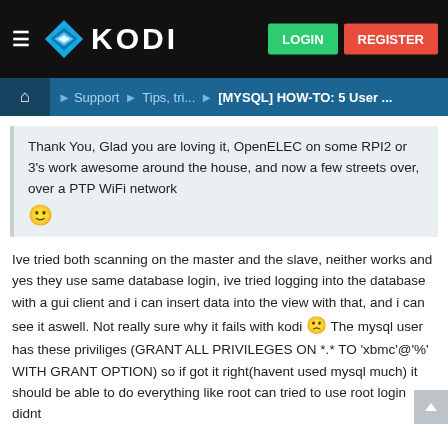KODI — LOGIN | REGISTER
Home > Support > Tips, tri... > [MYSQL] HOW-TO: 5 User ...
Thank You, Glad you are loving it, OpenELEC on some RPI2 or 3's work awesome around the house, and now a few streets over, over a PTP WiFi network 🙂
Ive tried both scanning on the master and the slave, neither works and yes they use same database login, ive tried logging into the database with a gui client and i can insert data into the view with that, and i can see it aswell. Not really sure why it fails with kodi 🙁 The mysql user has these priviliges (GRANT ALL PRIVILEGES ON *.* TO 'xbmc'@'%' WITH GRANT OPTION) so if got it right(havent used mysql much) it should be able to do everything like root can tried to use root login didnt